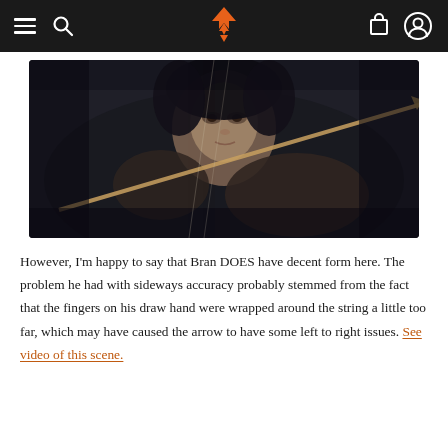Navigation bar with hamburger, search, logo, cart, and user icons
[Figure (photo): A child aiming a bow and arrow toward the viewer in a dark, moody cinematic setting. The child has dark hair and is holding arrows with gloved hands.]
However, I'm happy to say that Bran DOES have decent form here. The problem he had with sideways accuracy probably stemmed from the fact that the fingers on his draw hand were wrapped around the string a little too far, which may have caused the arrow to have some left to right issues. See video of this scene.